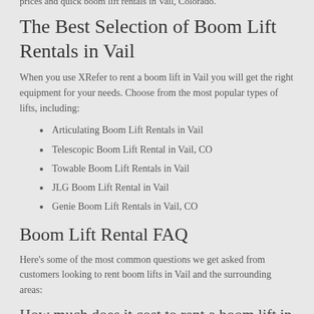prices and quick boom lift rentals in Vail, Colorado.
The Best Selection of Boom Lift Rentals in Vail
When you use XRefer to rent a boom lift in Vail you will get the right equipment for your needs. Choose from the most popular types of lifts, including:
Articulating Boom Lift Rentals in Vail
Telescopic Boom Lift Rental in Vail, CO
Towable Boom Lift Rentals in Vail
JLG Boom Lift Rental in Vail
Genie Boom Lift Rentals in Vail, CO
Boom Lift Rental FAQ
Here's some of the most common questions we get asked from customers looking to rent boom lifts in Vail and the surrounding areas:
How much does it cost to rent a boom lift in Vail?
Vail boom lift rentals can be as low as $80 per day for a smaller lift, and it can...